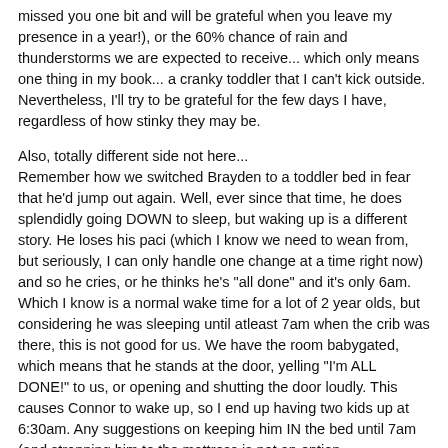missed you one bit and will be grateful when you leave my presence in a year!), or the 60% chance of rain and thunderstorms we are expected to receive... which only means one thing in my book... a cranky toddler that I can't kick outside. Nevertheless, I'll try to be grateful for the few days I have, regardless of how stinky they may be.
Also, totally different side not here...
Remember how we switched Brayden to a toddler bed in fear that he'd jump out again. Well, ever since that time, he does splendidly going DOWN to sleep, but waking up is a different story. He loses his paci (which I know we need to wean from, but seriously, I can only handle one change at a time right now) and so he cries, or he thinks he's "all done" and it's only 6am. Which I know is a normal wake time for a lot of 2 year olds, but considering he was sleeping until atleast 7am when the crib was there, this is not good for us. We have the room babygated, which means that he stands at the door, yelling "I'm ALL DONE!" to us, or opening and shutting the door loudly. This causes Connor to wake up, so I end up having two kids up at 6:30am. Any suggestions on keeping him IN the bed until 7am (and strapping him to the mattress is not an option - unfortunately). I save the